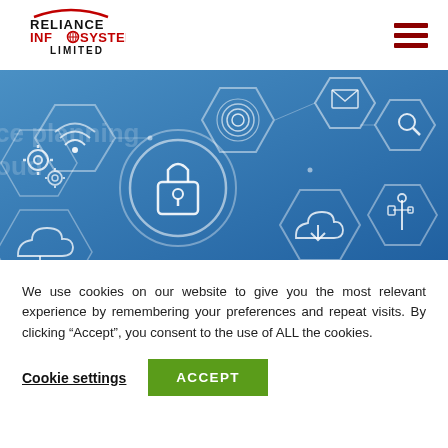[Figure (logo): Reliance Infosystems Limited logo with red arc above text and globe icon in 'O' of INFOSYSTEMS]
[Figure (illustration): Blue gradient banner with technology/security icons: lock, fingerprint, wifi, gears, cloud, USB, search, hexagon network pattern]
We use cookies on our website to give you the most relevant experience by remembering your preferences and repeat visits. By clicking “Accept”, you consent to the use of ALL the cookies.
Cookie settings
ACCEPT